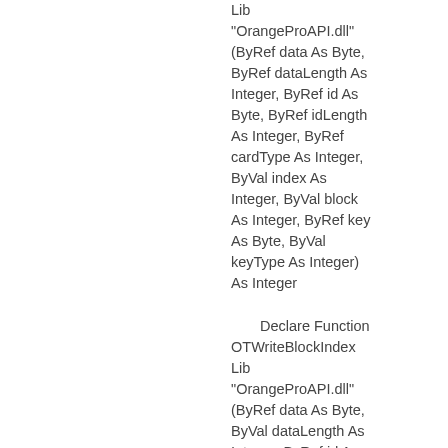Lib "OrangeProAPI.dll" (ByRef data As Byte, ByRef dataLength As Integer, ByRef id As Byte, ByRef idLength As Integer, ByRef cardType As Integer, ByVal index As Integer, ByVal block As Integer, ByRef key As Byte, ByVal keyType As Integer) As Integer
Declare Function OTWriteBlockIndex Lib "OrangeProAPI.dll" (ByRef data As Byte, ByVal dataLength As Integer, ByRef id As Byte, ByRef idLength As Integer, ByRef cardType As Integer, ByVal index As Integer, ByVal block As Integer, ByRef key As Byte, ByVal keyType As Integer) As Integer